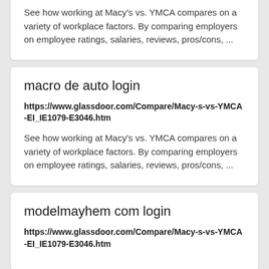See how working at Macy's vs. YMCA compares on a variety of workplace factors. By comparing employers on employee ratings, salaries, reviews, pros/cons, ...
macro de auto login
https://www.glassdoor.com/Compare/Macy-s-vs-YMCA-EI_IE1079-E3046.htm
See how working at Macy's vs. YMCA compares on a variety of workplace factors. By comparing employers on employee ratings, salaries, reviews, pros/cons, ...
modelmayhem com login
https://www.glassdoor.com/Compare/Macy-s-vs-YMCA-EI_IE1079-E3046.htm